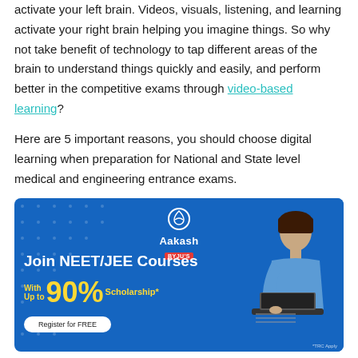activate your left brain. Videos, visuals, listening, and learning activate your right brain helping you imagine things. So why not take benefit of technology to tap different areas of the brain to understand things quickly and easily, and perform better in the competitive exams through video-based learning?
Here are 5 important reasons, you should choose digital learning when preparation for National and State level medical and engineering entrance exams.
[Figure (photo): Aakash BYJU'S advertisement banner with blue background. Text: 'Join NEET/JEE Courses With Up to 90% Scholarship*'. Button: 'Register for FREE'. Shows a student studying with laptop. TRC Apply note at bottom right.]